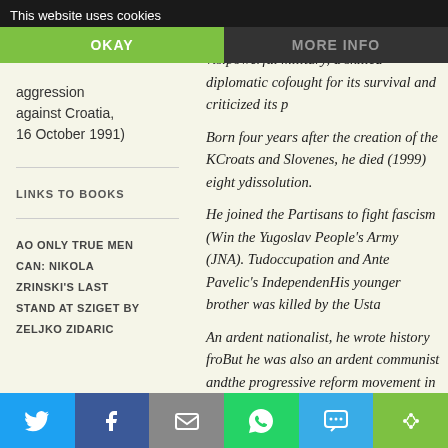This website uses cookies
OKAY
MORE INFO
aggression against Croatia, 16 October 1991)
LINKS TO BOOKS
AO ONLY TRUE MEN
CAN: NIKOLA
ZRINSKI'S LAST
STAND AT SZIGET BY
ZELJKO ZIDARIC
imagined by Ante Starcevic. It was a view... powerful military, a skilled diplomatic co... fought for its survival and criticized its p...
Born four years after the creation of the K... Croats and Slovenes, he died (1999) eight y... dissolution.
He joined the Partisans to fight fascism (W... in the Yugoslav People's Army (JNA). Tud... occupation and Ante Pavelic's Independen... His younger brother was killed by the Usta...
An ardent nationalist, he wrote history fro... But he was also an ardent communist and... the progressive reform movement in Croa... many Croatians, he paid the price for belie... most dissidents, he was kept out of public...
Tudjman and Slobodan Milosevic have r...